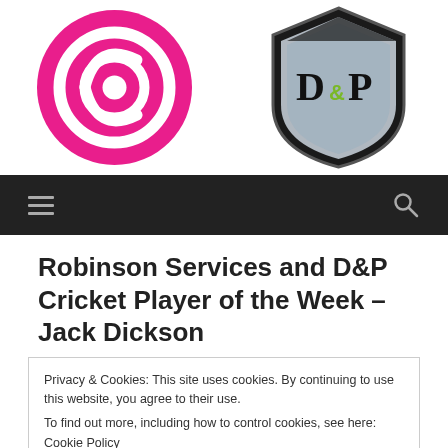[Figure (logo): Two logos side by side: a pink circular Robinson Services logo on the left, and a shield-shaped D&P Cricket logo on the right on white background]
[Figure (screenshot): Dark navigation bar with hamburger menu icon on left and search icon on right]
Robinson Services and D&P Cricket Player of the Week – Jack Dickson
Privacy & Cookies: This site uses cookies. By continuing to use this website, you agree to their use.
To find out more, including how to control cookies, see here: Cookie Policy
[Close and accept button]
Our victory over Woodvale on Saturday